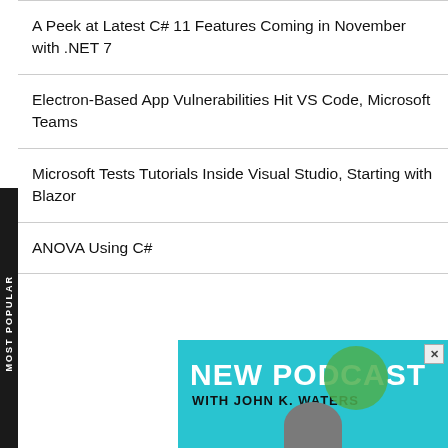A Peek at Latest C# 11 Features Coming in November with .NET 7
Electron-Based App Vulnerabilities Hit VS Code, Microsoft Teams
Microsoft Tests Tutorials Inside Visual Studio, Starting with Blazor
ANOVA Using C#
[Figure (screenshot): Advertisement banner for 'NEW PODCAST WITH JOHN K. WATERS' on a teal/cyan background with a close button (X) in the top right corner and a partial image of a person at the bottom.]